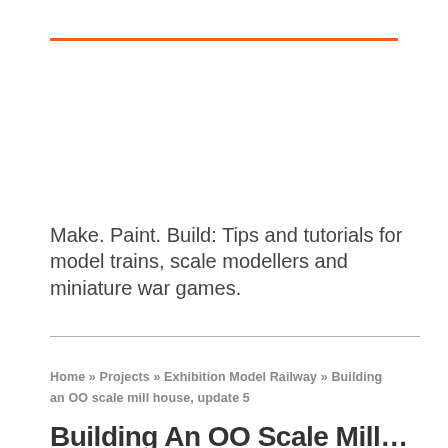Make. Paint. Build: Tips and tutorials for model trains, scale modellers and miniature war games.
Home » Projects » Exhibition Model Railway » Building an OO scale mill house, update 5
Building An OO Scale Mill…